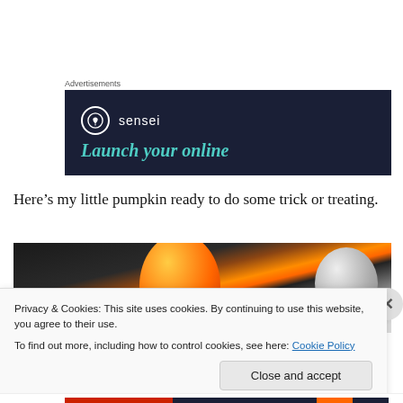Advertisements
[Figure (screenshot): Advertisement banner for 'sensei' brand on dark navy background with logo and tagline 'Launch your online']
Here’s my little pumpkin ready to do some trick or treating.
[Figure (photo): Photo of Halloween decorations including an orange pumpkin/lantern and balloons]
Privacy & Cookies: This site uses cookies. By continuing to use this website, you agree to their use.
To find out more, including how to control cookies, see here: Cookie Policy
Close and accept